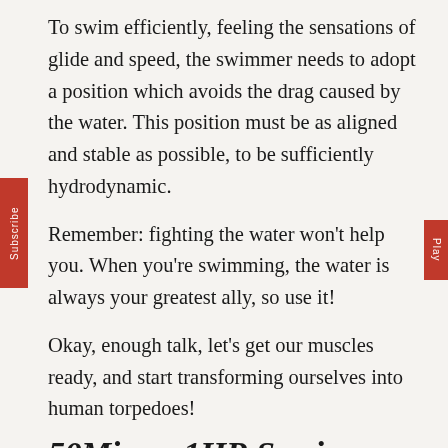To swim efficiently, feeling the sensations of glide and speed, the swimmer needs to adopt a position which avoids the drag caused by the water. This position must be as aligned and stable as possible, to be sufficiently hydrodynamic.
Remember: fighting the water won't help you. When you're swimming, the water is always your greatest ally, so use it!
Okay, enough talk, let's get our muscles ready, and start transforming ourselves into human torpedoes!
50Mins – 1HR Session